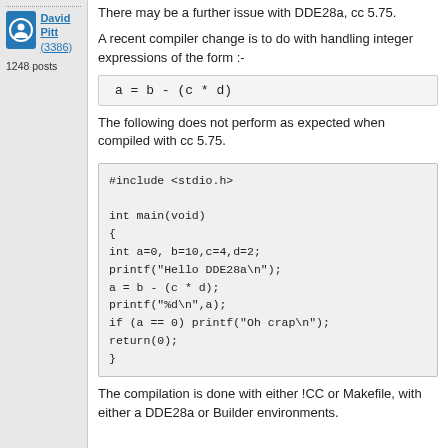David Pitt (3386)
1248 posts
There may be a further issue with DDE28a, cc 5.75.
A recent compiler change is to do with handling integer expressions of the form :-
The following does not perform as expected when compiled with cc 5.75.
#include <stdio.h>

int main(void)
{
int a=0, b=10,c=4,d=2;
printf("Hello DDE28a\n");
a = b - (c * d);
printf("%d\n",a);
if (a == 0) printf("Oh crap\n");
return(0);
}
The compilation is done with either !CC or Makefile, with either a DDE28a or Builder environments.